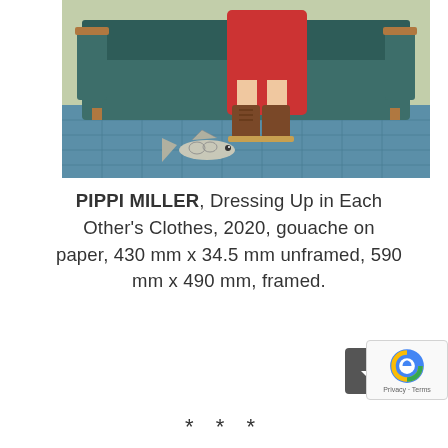[Figure (illustration): A gouache painting showing a person in a red dress and brown boots sitting on a teal/dark green sofa. A fish lies on a blue tiled floor in the foreground. The room has a light green wall.]
PIPPI MILLER, Dressing Up in Each Other's Clothes, 2020, gouache on paper, 430 mm x 34.5 mm unframed, 590 mm x 490 mm, framed.
* * *